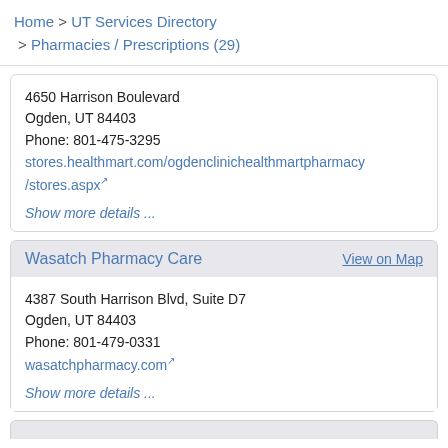Home > UT Services Directory > Pharmacies / Prescriptions (29)
4650 Harrison Boulevard
Ogden, UT 84403
Phone: 801-475-3295
stores.healthmart.com/ogdenclinichealthmartpharmacy/stores.aspx
Show more details ...
Wasatch Pharmacy Care   View on Map
4387 South Harrison Blvd, Suite D7
Ogden, UT 84403
Phone: 801-479-0331
wasatchpharmacy.com
Show more details ...
Next Pharmacy ... View on Map